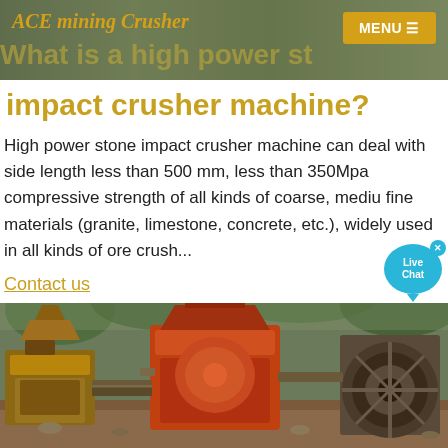ACE mining Crusher
What is a high power stone impact crusher machine?
High power stone impact crusher machine can deal with side length less than 500 mm, less than 350Mpa compressive strength of all kinds of coarse, medium fine materials (granite, limestone, concrete, etc.), widely used in all kinds of ore crush...
Contact us
[Figure (photo): Photograph of heavy mining/crushing machinery including orange-colored impact crusher machines and equipment in an outdoor industrial setting with trees in background]